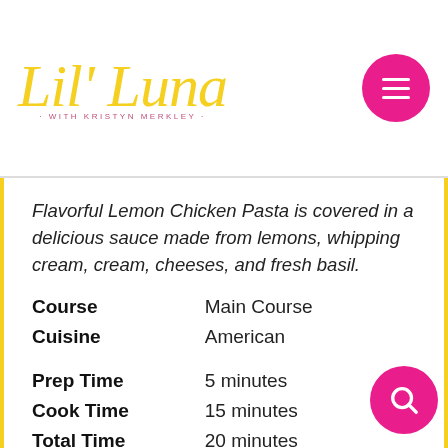Lil' Luna · WITH KRISTYN MERKLEY
Flavorful Lemon Chicken Pasta is covered in a delicious sauce made from lemons, whipping cream, cheeses, and fresh basil.
| Course | Main Course |
| Cuisine | American |
| Prep Time | 5 minutes |
| Cook Time | 15 minutes |
| Total Time | 20 minutes |
| Servings | 4 |
| Calories | 1003 kcal |
| Author | Lil' Luna |